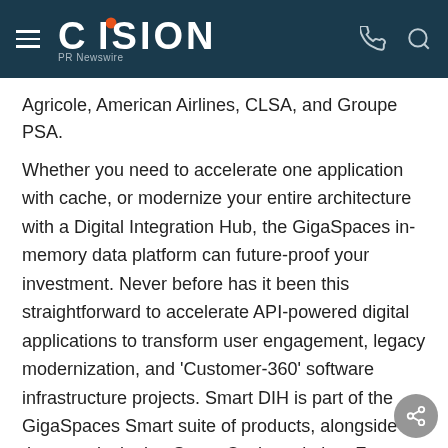CISION PR Newswire
Agricole, American Airlines, CLSA, and Groupe PSA.
Whether you need to accelerate one application with cache, or modernize your entire architecture with a Digital Integration Hub, the GigaSpaces in-memory data platform can future-proof your investment. Never before has it been this straightforward to accelerate API-powered digital applications to transform user engagement, legacy modernization, and 'Customer-360' software infrastructure projects. Smart DIH is part of the GigaSpaces Smart suite of products, alongside the award-winning Smart Cache solution. For more information visit